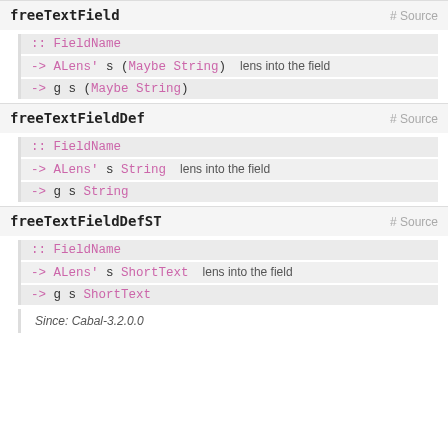freeTextField
:: FieldName
-> ALens' s (Maybe String)   lens into the field
-> g s (Maybe String)
freeTextFieldDef
:: FieldName
-> ALens' s String   lens into the field
-> g s String
freeTextFieldDefST
:: FieldName
-> ALens' s ShortText   lens into the field
-> g s ShortText
Since: Cabal-3.2.0.0